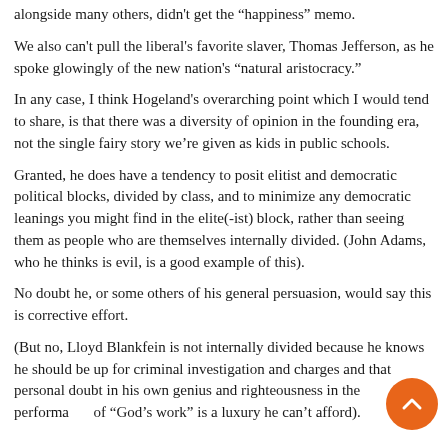alongside many others, didn't get the “happiness” memo.
We also can't pull the liberal's favorite slaver, Thomas Jefferson, as he spoke glowingly of the new nation's “natural aristocracy.”
In any case, I think Hogeland's overarching point which I would tend to share, is that there was a diversity of opinion in the founding era, not the single fairy story we’re given as kids in public schools.
Granted, he does have a tendency to posit elitist and democratic political blocks, divided by class, and to minimize any democratic leanings you might find in the elite(-ist) block, rather than seeing them as people who are themselves internally divided. (John Adams, who he thinks is evil, is a good example of this).
No doubt he, or some others of his general persuasion, would say this is corrective effort.
(But no, Lloyd Blankfein is not internally divided because he knows he should be up for criminal investigation and charges and that personal doubt in his own genius and righteousness in the performance of “God’s work” is a luxury he can’t afford).